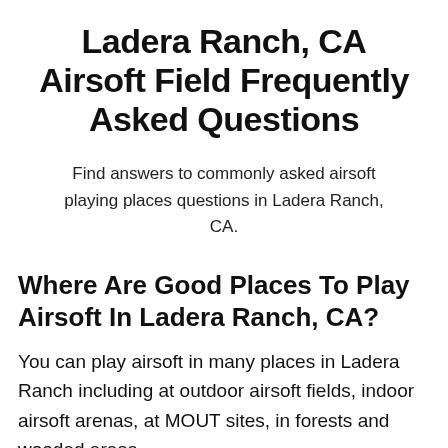Ladera Ranch, CA Airsoft Field Frequently Asked Questions
Find answers to commonly asked airsoft playing places questions in Ladera Ranch, CA.
Where Are Good Places To Play Airsoft In Ladera Ranch, CA?
You can play airsoft in many places in Ladera Ranch including at outdoor airsoft fields, indoor airsoft arenas, at MOUT sites, in forests and wooded areas